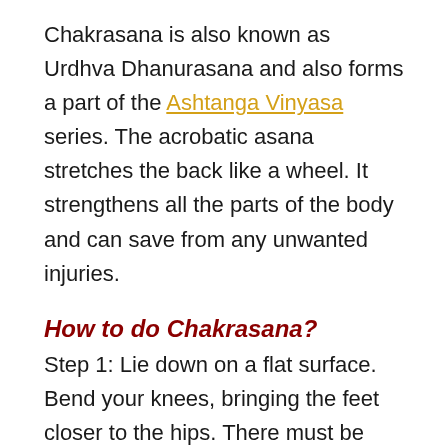Chakrasana is also known as Urdhva Dhanurasana and also forms a part of the Ashtanga Vinyasa series. The acrobatic asana stretches the back like a wheel. It strengthens all the parts of the body and can save from any unwanted injuries.
How to do Chakrasana?
Step 1: Lie down on a flat surface. Bend your knees, bringing the feet closer to the hips. There must be some space between the feet.
Step 2: Lift up your hands, placing them near your head with fingers pointing towards the feet.